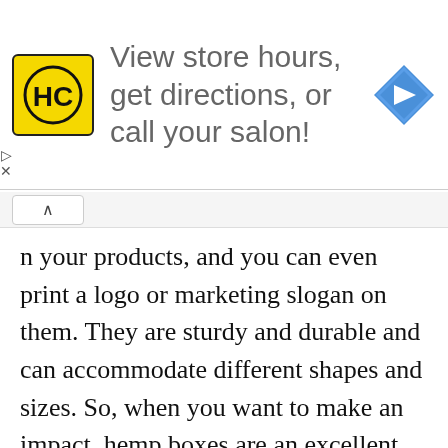[Figure (infographic): Advertisement banner: HC logo (yellow square with HC letters in black circle) beside text 'View store hours, get directions, or call your salon!' with a blue diamond navigation arrow icon on the right.]
n your products, and you can even print a logo or marketing slogan on them. They are sturdy and durable and can accommodate different shapes and sizes. So, when you want to make an impact, hemp boxes are an excellent choice.